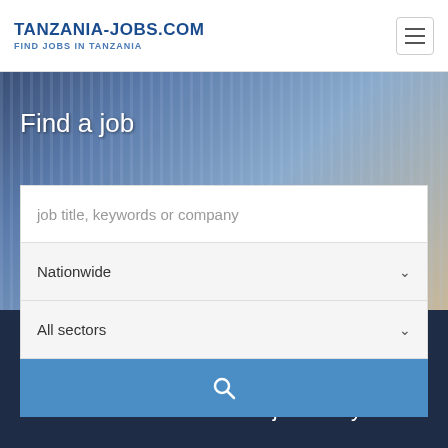TANZANIA-JOBS.COM FIND JOBS IN TANZANIA
[Figure (photo): Background hero photo showing a person in a striped business shirt, partially visible, dark blue overlay background]
Find a job
job title, keywords or company
Nationwide
All sectors
Fin a job by job title or by location
We have more than 2690 jobs for you!